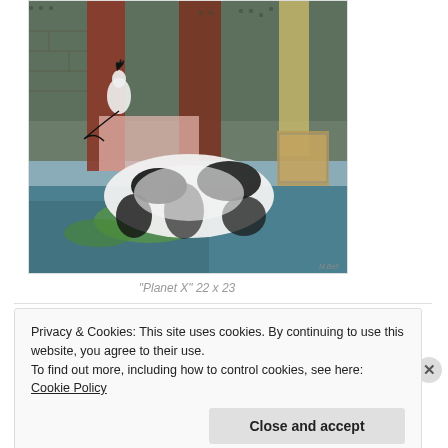[Figure (photo): Artwork photo: mixed-media collage painting titled 'Planet X', 22 x 23. Features a black and white animal (panda or similar) reclining in a surreal scene with colorful backgrounds including brick-red rectangles, textured blue-green surfaces, and a chicken-like figure.]
"Planet X" 22 x 23
Privacy & Cookies: This site uses cookies. By continuing to use this website, you agree to their use.
To find out more, including how to control cookies, see here: Cookie Policy